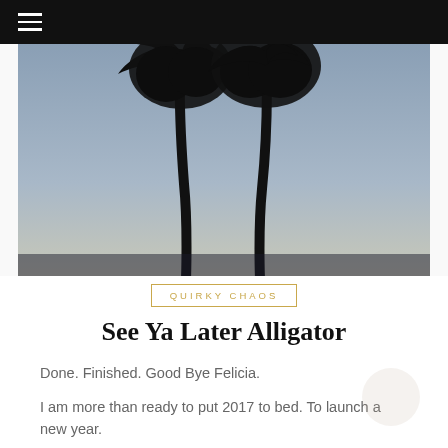[Figure (photo): Two palm tree silhouettes against a dusky blue-grey sky, photographed from below looking up. The trunks are tall and slender with large fronds splaying outward at the top. The atmosphere is twilight with muted grey-blue tones.]
QUIRKY CHAOS
See Ya Later Alligator
Done. Finished. Good Bye Felicia.
I am more than ready to put 2017 to bed. To launch a new year.